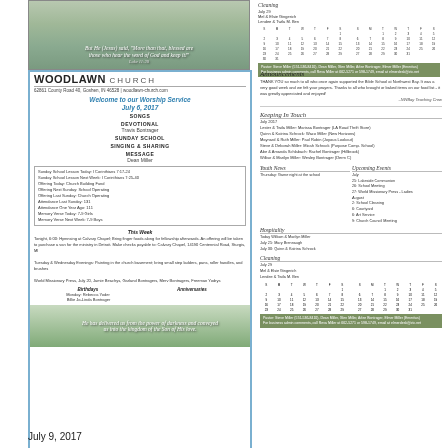[Figure (photo): Church bulletin cover image with trees and scripture quote: 'But He (Jesus) said, More than that, blessed are those who hear the word of God and keep it!' Luke 11:28]
[Figure (other): Top right section with Cleaning schedule for July 29 and small calendar]
[Figure (other): Woodlawn Church bulletin with welcome to worship service July 6, 2017, songs, devotional, Sunday school, message by Dean Miller, announcements, this week events, birthdays and anniversaries]
Announcements - THANK YOU so much to all who once again supported the Bible School at Northwest Bay. It was a very good week and we felt your prayers. Thanks to all who brought or baked items on our food list - it was greatly appreciated and enjoyed! -NWBay Teaching Crew
Keeping In Touch - July 2017 - various family prayer requests
Youth News - Thursday: Game night at the school
Upcoming Events - July: 25 Lakeside Communion, 26 School Meeting, 27 World Missionary Press - Ladies. August: 2 School Cleaning, 6 Courtyard, 6 Art Service, 9 Church Council Meeting
Hospitality - Today William & Marilyn Miller, July 25 Mary Brennaugh, July 30 Quinn & Katrina Schrock
Cleaning - July 29 - Mel & Elsie Gingerich, Lendee & Twila M. Ben
July 9, 2017